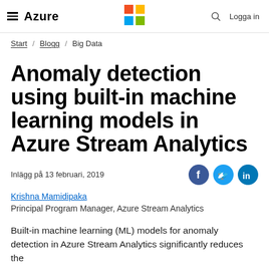Azure — Microsoft — Logga in
Start / Blogg / Big Data
Anomaly detection using built-in machine learning models in Azure Stream Analytics
Inlägg på 13 februari, 2019
Krishna Mamidipaka
Principal Program Manager, Azure Stream Analytics
Built-in machine learning (ML) models for anomaly detection in Azure Stream Analytics significantly reduces the